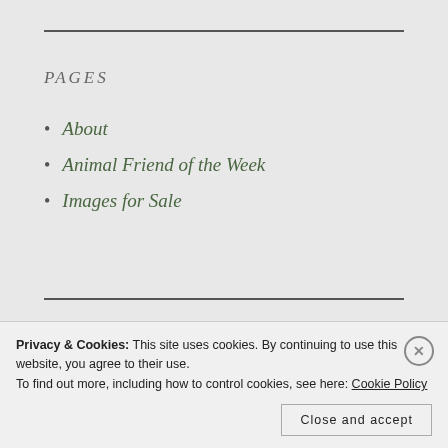PAGES
About
Animal Friend of the Week
Images for Sale
AB Friday: One Photo Focus  Animal Friends  A
Privacy & Cookies: This site uses cookies. By continuing to use this website, you agree to their use.
To find out more, including how to control cookies, see here: Cookie Policy
Close and accept